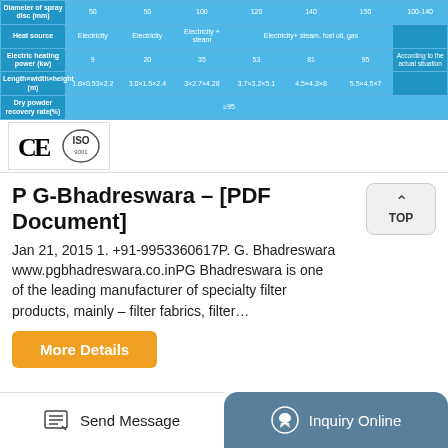|  | 50 | 50 | 100 | 120 | 140 | 150 | 100-140 |
| --- | --- | --- | --- | --- | --- | --- | --- |
| Diameter of spray disc (mm) | 50 | 50 | 100 | 120 | 140 | 150 | 100-140 |
| Heat source | Electricity | Electricity | Electricity + steam | Electricity+ steam, fuel oil, gas |  |  |  |
| Electric heating power (kw) | 9 | 20 | 35 | 53 | 81 | 95 | According to the actual situation |
| Length×width×height (m) | 1.8×0.53×2.2 | 3.0×1.5×2.4 | 3×2.7×4.28 | 3.7×3.2×5.1 | 4.5×4.2×8 | 5.5×4.5×7 |  |
| Dry powder recovery rate(%) |  |  |  | ≥95 |  |  |  |
[Figure (logo): CE and ISO certification logos]
P G-Bhadreswara - [PDF Document]
Jan 21, 2015 1. +91-9953360617P. G. Bhadreswara www.pgbhadreswara.co.inPG Bhadreswara is one of the leading manufacturer of specialty filter products, mainly - filter fabrics, filter...
More Details
Send Message | Inquiry Online